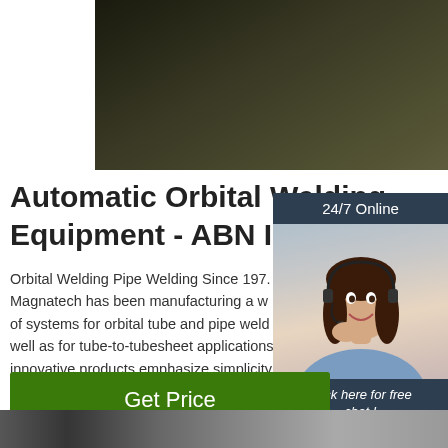[Figure (photo): Close-up photo of a dark industrial pipe or metallic surface, partially cropped at top]
Automatic Orbital Welding Equipment - ABN Internatio
Orbital Welding Pipe Welding Since 197. Magnatech has been manufacturing a w of systems for orbital tube and pipe weld well as for tube-to-tubesheet applications innovative products emphasize simplicity reliability, and ease-of-use. With this exp Magnatech started developing pipeline w systems around 15 years ago.
[Figure (photo): Chat widget showing a woman with a headset smiling, with 24/7 Online header, Click here for free chat link, and QUOTATION button]
[Figure (photo): Get Price green button]
[Figure (photo): Bottom partial photo of industrial equipment]